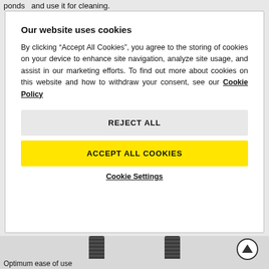ponds  and use it for cleaning.
Our website uses cookies
By clicking “Accept All Cookies”, you agree to the storing of cookies on your device to enhance site navigation, analyze site usage, and assist in our marketing efforts. To find out more about cookies on this website and how to withdraw your consent, see our Cookie Policy
REJECT ALL
ACCEPT ALL COOKIES
Cookie Settings
Optimum ease of use